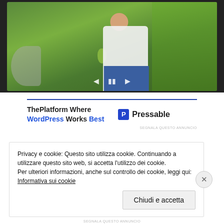[Figure (photo): A person in white shirt and blue pants crouching outdoors among green plants, holding a green mango, with a bicycle visible in the background. Slideshow controls (previous, pause, next) are shown at the bottom of the image.]
[Figure (screenshot): Advertisement for Pressable WordPress hosting. Shows text 'ThePlatform Where WordPress Works Best' with Pressable logo on the right. Blue horizontal rule at top. Small 'SEGNALA QUESTO ANNUNCIO' text at bottom right.]
Privacy e cookie: Questo sito utilizza cookie. Continuando a utilizzare questo sito web, si accetta l'utilizzo dei cookie.
Per ulteriori informazioni, anche sul controllo dei cookie, leggi qui:
Informativa sui cookie
Chiudi e accetta